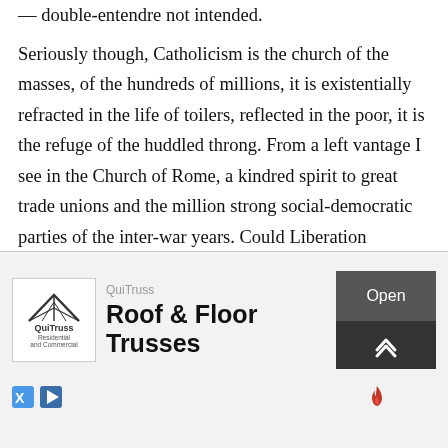— double-entendre not intended. Seriously though, Catholicism is the church of the masses, of the hundreds of millions, it is existentially refracted in the life of toilers, reflected in the poor, it is the refuge of the huddled throng. From a left vantage I see in the Church of Rome, a kindred spirit to great trade unions and the million strong social-democratic parties of the inter-war years. Could Liberation Theology, for example, have issued from any other church? Prissy evangelicals, Born-Agains who bore you to tears and the ISIL-avatarish rampaging
[Figure (other): Advertisement banner for QuiTruss Roof & Floor Trusses with logo, Open button, scroll-up button, and ad network icons]